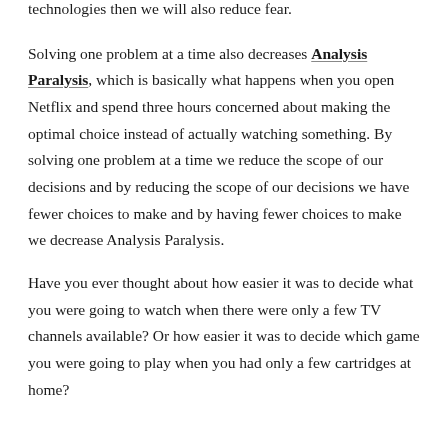technologies then we will also reduce fear.
Solving one problem at a time also decreases Analysis Paralysis, which is basically what happens when you open Netflix and spend three hours concerned about making the optimal choice instead of actually watching something. By solving one problem at a time we reduce the scope of our decisions and by reducing the scope of our decisions we have fewer choices to make and by having fewer choices to make we decrease Analysis Paralysis.
Have you ever thought about how easier it was to decide what you were going to watch when there were only a few TV channels available? Or how easier it was to decide which game you were going to play when you had only a few cartridges at home?